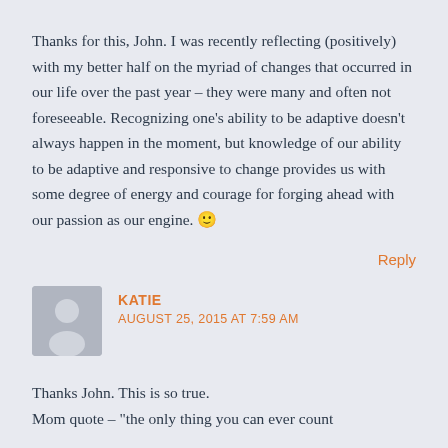Thanks for this, John. I was recently reflecting (positively) with my better half on the myriad of changes that occurred in our life over the past year – they were many and often not foreseeable. Recognizing one's ability to be adaptive doesn't always happen in the moment, but knowledge of our ability to be adaptive and responsive to change provides us with some degree of energy and courage for forging ahead with our passion as our engine. 🙂
Reply
KATIE
AUGUST 25, 2015 AT 7:59 AM
Thanks John. This is so true.
Mom quote – "the only thing you can ever count